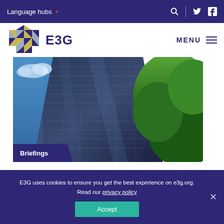Language hubs
[Figure (logo): E3G hexagonal mosaic logo with triangular color blocks in yellow, navy, and grey, next to text 'E3G']
[Figure (photo): Upward angle photograph of a tall glass skyscraper facade with a blue sky and green tree foliage visible]
Briefings
E3G uses cookies to ensure you get the best experience on e3g.org. Read our privacy policy
Accept